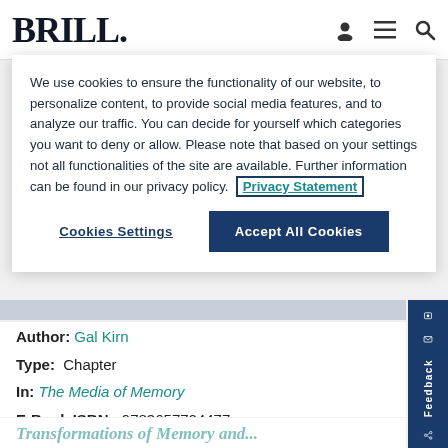BRILL.
We use cookies to ensure the functionality of our website, to personalize content, to provide social media features, and to analyze our traffic. You can decide for yourself which categories you want to deny or allow. Please note that based on your settings not all functionalities of the site are available. Further information can be found in our privacy policy. Privacy Statement
Cookies Settings   Accept All Cookies
Author: Gal Kirn
Type: Chapter
In: The Media of Memory
E-Book ISBN: 9783657704477
Print Publication Date: 27 Aug 2020
Transformations of Memory and...